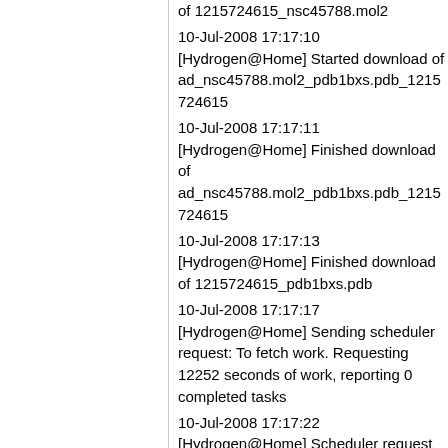of 1215724615_nsc45788.mol2
10-Jul-2008 17:17:10
[Hydrogen@Home] Started download of ad_nsc45788.mol2_pdb1bxs.pdb_1215724615
10-Jul-2008 17:17:11
[Hydrogen@Home] Finished download of ad_nsc45788.mol2_pdb1bxs.pdb_1215724615
10-Jul-2008 17:17:13
[Hydrogen@Home] Finished download of 1215724615_pdb1bxs.pdb
10-Jul-2008 17:17:17
[Hydrogen@Home] Sending scheduler request: To fetch work. Requesting 12252 seconds of work, reporting 0 completed tasks
10-Jul-2008 17:17:22
[Hydrogen@Home] Scheduler request succeeded: got 0 new tasks
10-Jul-2008 17:17:22
[Hydrogen@Home] Message from